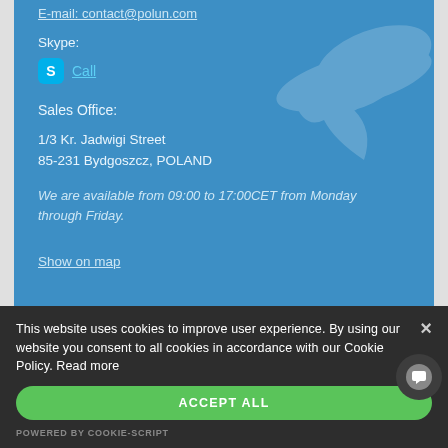E-mail: contact@polun.com
Skype:
Call
Sales Office:
1/3 Kr. Jadwigi Street
85-231 Bydgoszcz, POLAND
We are available from 09:00 to 17:00CET from Monday through Friday.
Show on map
This website uses cookies to improve user experience. By using our website you consent to all cookies in accordance with our Cookie Policy. Read more
ACCEPT ALL
POWERED BY COOKIE-SCRIPT